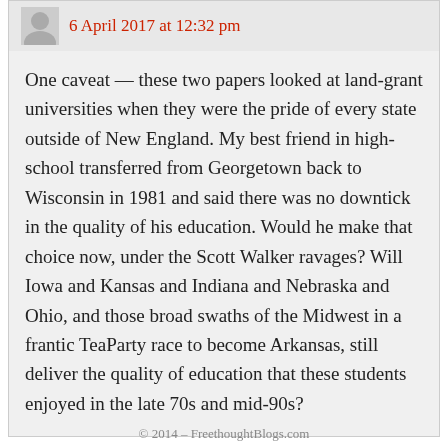6 April 2017 at 12:32 pm
One caveat — these two papers looked at land-grant universities when they were the pride of every state outside of New England. My best friend in high-school transferred from Georgetown back to Wisconsin in 1981 and said there was no downtick in the quality of his education. Would he make that choice now, under the Scott Walker ravages? Will Iowa and Kansas and Indiana and Nebraska and Ohio, and those broad swaths of the Midwest in a frantic TeaParty race to become Arkansas, still deliver the quality of education that these students enjoyed in the late 70s and mid-90s?
© 2014 – FreethoughtBlogs.com